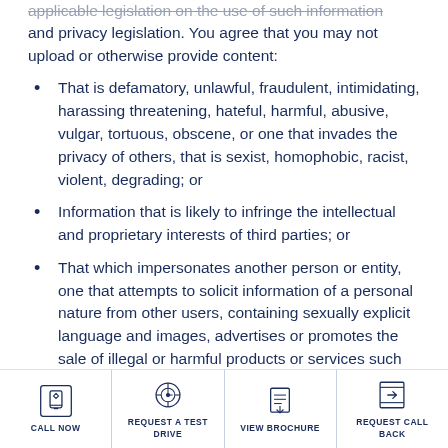applicable legislation on the use of such information and privacy legislation. You agree that you may not upload or otherwise provide content:
That is defamatory, unlawful, fraudulent, intimidating, harassing threatening, hateful, harmful, abusive, vulgar, tortuous, obscene, or one that invades the privacy of others, that is sexist, homophobic, racist, violent, degrading; or
Information that is likely to infringe the intellectual and proprietary interests of third parties; or
That which impersonates another person or entity, one that attempts to solicit information of a personal nature from other users, containing sexually explicit language and images, advertises or promotes the sale of illegal or harmful products or services such as firearms, tobacco or alcohol, adult products and services and other such products that ITC considers to be inappropriate; or
CALL NOW | REQUEST A TEST DRIVE | VIEW BROCHURE | REQUEST CALL BACK